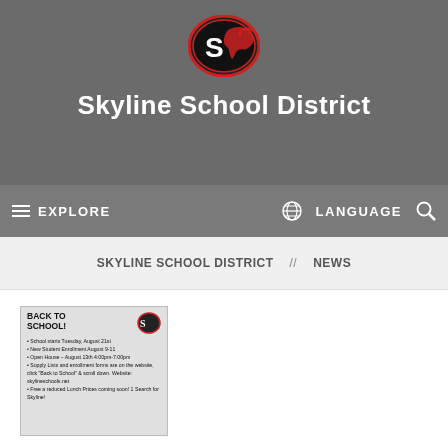[Figure (logo): Skyline School District mascot logo — oval shaped with red border, featuring a panther and stylized 'S' letter]
Skyline School District
EXPLORE   LANGUAGE   [search icon]
SKYLINE SCHOOL DISTRICT  //  NEWS
[Figure (screenshot): Thumbnail image of a 'Back to School!' flyer with Skyline logo and bullet points about school start dates, open house, supply lists and lunch menu]
Back to School info....